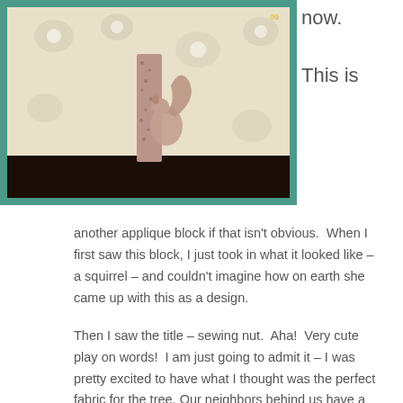[Figure (photo): A quilted applique block showing a tree with a squirrel design, sewn with floral white fabric background and dark brown base strip, placed on a green cutting mat.]
now.
This is
another applique block if that isn't obvious.  When I first saw this block, I just took in what it looked like – a squirrel – and couldn't imagine how on earth she came up with this as a design.

Then I saw the title – sewing nut.  Aha!  Very cute play on words!  I am just going to admit it – I was pretty excited to have what I thought was the perfect fabric for the tree. Our neighbors behind us have a tree that has lots of knots in it, and this reminds me of the tree I see behind our house every day.  On the other hand, that tree has some dead